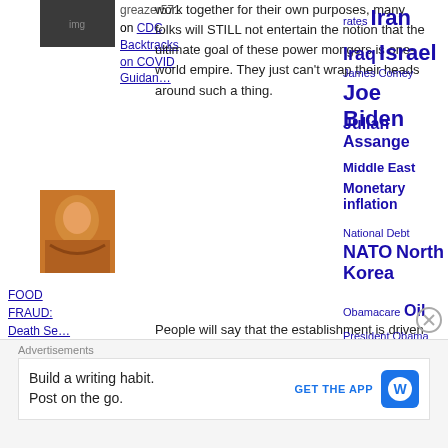[Figure (photo): Small avatar photo of a user (dark image) at top left]
greazer571
on CDC Backtracks on COVID Guidan…
[Figure (photo): Avatar image of a woman with orange/red hair]
FOOD FRAUD: Death Se… on Death Sentence by Starvation…
work together for their own purposes, many folks will STILL not entertain the notion that the ultimate goal of these power mongers is one-world empire. They just can't wrap their heads around such a thing.
People will say that the establishment is driven by greed alone and that their associations are fragile and based only on individual self interest. They will say that crisis events and shifts in social and political trends are random, not the product of deliberate engineering. They will say that elitists will never
ARCHIVES
Select Month
rates Iran Iraq Israel
James Comey
Joe Biden
Julian Assange
Middle East
Monetary inflation
National Debt
NATO North Korea
Obamacare Oil
President Obama
President Trump
Prime Deceit
Republicans
Robert
Advertisements
Build a writing habit. Post on the go.
GET THE APP